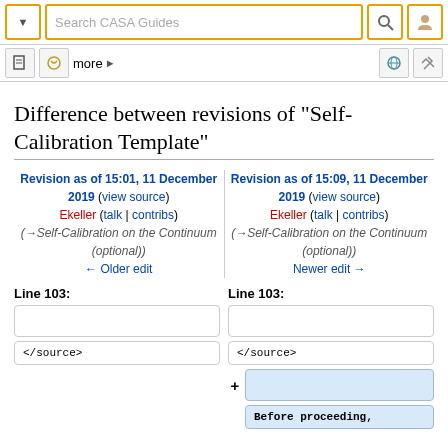Search CASA Guides
Difference between revisions of "Self-Calibration Template"
Revision as of 15:01, 11 December 2019 (view source)
Ekeller (talk | contribs)
(→Self-Calibration on the Continuum (optional))
← Older edit
Revision as of 15:09, 11 December 2019 (view source)
Ekeller (talk | contribs)
(→Self-Calibration on the Continuum (optional))
Newer edit →
Line 103:
Line 103:
|  |  |
| </source> | </source> |
| + |  |
|  | Before proceeding, |
</source>
</source>
Before proceeding,